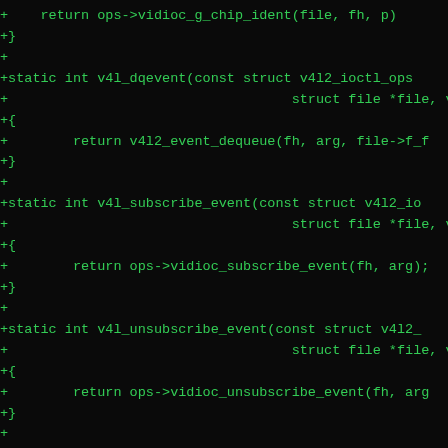[Figure (screenshot): Dark terminal/diff view showing C source code additions (lines prefixed with +) for Linux V4L2 kernel driver functions: v4l_dqevent, v4l_subscribe_event, v4l_unsubscribe_event, and v4l_g_sliced_vbi_cap static int functions with their implementations.]